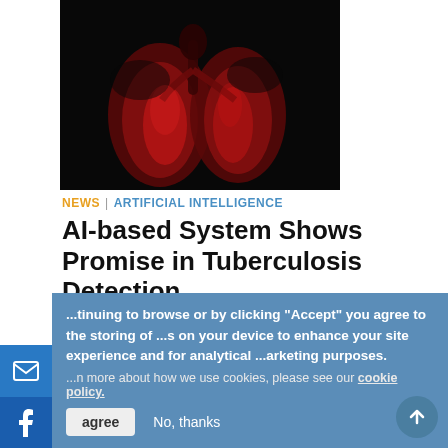[Figure (photo): Medical illustration of human lungs glowing red/dark red against a black background]
NEWS | ARTIFICIAL INTELLIGENCE
AI-based System Shows Promise in Tuberculosis Detection
August 31, 2022 — An artificial intelligence (AI) system detects tuberculosis (TB) in chest X-rays at a level comparable
...ntinuing to browse or by clicking "Accept" you agree to the storing of ...s on your device to enhance your site experience and for analytical ...arketing purposes.
...n more about how we use cookies, please see our cookie policy.
agree   No, thanks